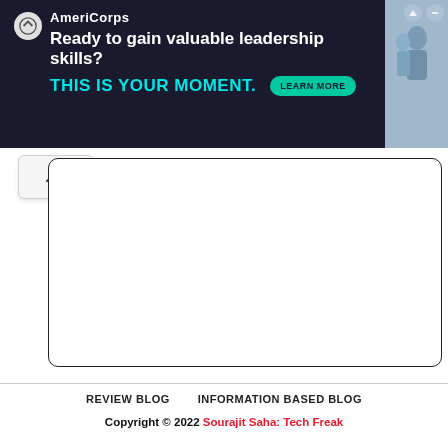[Figure (other): AmeriCorps advertisement banner: dark navy background with logo, headline 'Ready to gain valuable leadership skills?', subheadline 'THIS IS YOUR MOMENT.' in teal, Learn More button, and photo of people on right side]
[Figure (other): Collapse/scroll-up button with caret icon]
[Figure (other): Empty white content box with rounded border]
REVIEW BLOG   INFORMATION BASED BLOG
Copyright © 2022 Sourajit Saha: Tech Freak